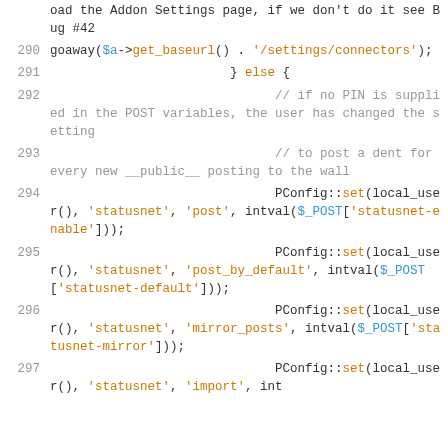Code listing lines 289-297 (PHP source code for Addon Settings / PConfig::set calls)